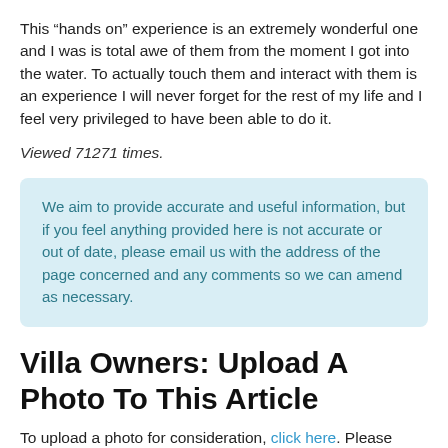This “hands on” experience is an extremely wonderful one and I was is total awe of them from the moment I got into the water. To actually touch them and interact with them is an experience I will never forget for the rest of my life and I feel very privileged to have been able to do it.
Viewed 71271 times.
We aim to provide accurate and useful information, but if you feel anything provided here is not accurate or out of date, please email us with the address of the page concerned and any comments so we can amend as necessary.
Villa Owners: Upload A Photo To This Article
To upload a photo for consideration, click here. Please